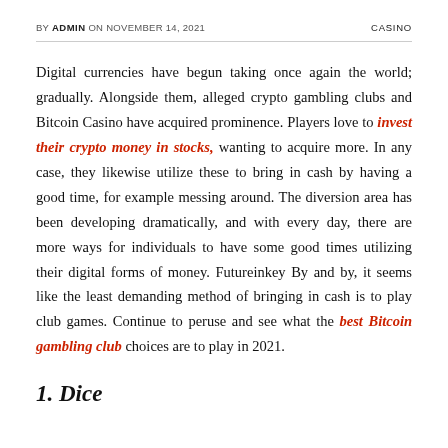BY ADMIN ON NOVEMBER 14, 2021    CASINO
Digital currencies have begun taking once again the world; gradually. Alongside them, alleged crypto gambling clubs and Bitcoin Casino have acquired prominence. Players love to invest their crypto money in stocks, wanting to acquire more. In any case, they likewise utilize these to bring in cash by having a good time, for example messing around. The diversion area has been developing dramatically, and with every day, there are more ways for individuals to have some good times utilizing their digital forms of money. Futureinkey By and by, it seems like the least demanding method of bringing in cash is to play club games. Continue to peruse and see what the best Bitcoin gambling club choices are to play in 2021.
1. Dice